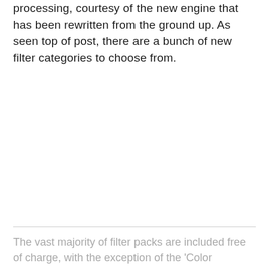You'll appreciate a much faster image processing, courtesy of the new engine that has been rewritten from the ground up. As seen top of post, there are a bunch of new filter categories to choose from.
The vast majority of filter packs are included free of charge, with the exception of the 'Color